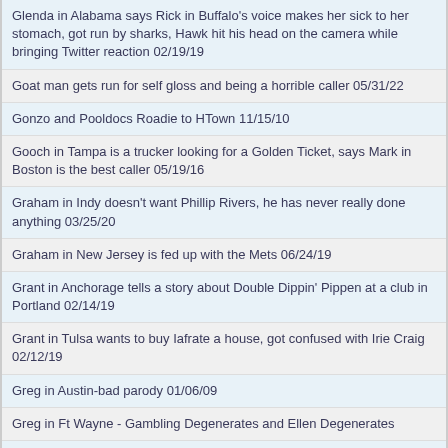Glenda in Alabama says Rick in Buffalo's voice makes her sick to her stomach, got run by sharks, Hawk hit his head on the camera while bringing Twitter reaction 02/19/19
Goat man gets run for self gloss and being a horrible caller 05/31/22
Gonzo and Pooldocs Roadie to HTown 11/15/10
Gooch in Tampa is a trucker looking for a Golden Ticket, says Mark in Boston is the best caller 05/19/16
Graham in Indy doesn't want Phillip Rivers, he has never really done anything 03/25/20
Graham in New Jersey is fed up with the Mets 06/24/19
Grant in Anchorage tells a story about Double Dippin' Pippen at a club in Portland 02/14/19
Grant in Tulsa wants to buy Iafrate a house, got confused with Irie Craig 02/12/19
Greg in Austin-bad parody 01/06/09
Greg in Ft Wayne - Gambling Degenerates and Ellen Degenerates
Greg in Houston told Tom that he had a good take, asked for more JD in Nashville resets, got run 01/21/22
Greg in KC doesn't understand radio delay 01/18/19
Greg in Louisville says Eric Church is this generations Johnny Cash 03/31/22
Greg in Marin County jokes about Rome being at parties with him in the 60's 05/21/20
Greg in Medford is a former radio monkey, talks about old school callers, gets chased by sharks 06/04/21